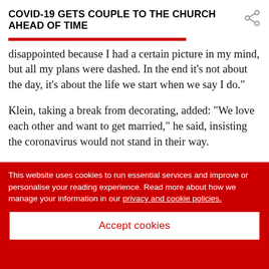COVID-19 GETS COUPLE TO THE CHURCH AHEAD OF TIME
disappointed because I had a certain picture in my mind, but all my plans were dashed. In the end it’s not about the day, it’s about the life we start when we say I do.”
Klein, taking a break from decorating, added: “We love each other and want to get married,” he said, insisting the coronavirus would not stand in their way.
[Figure (logo): Times Select newspaper logo advertisement banner on dark background with red circle graphic]
This website uses cookies to run essential services and improve or personalise your reading experience. Read more about how we manage your information in our privacy and cookie policies.
Accept cookies